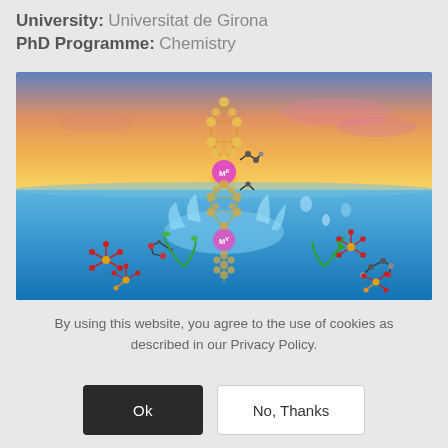University: Universitat de Girona
PhD Programme: Chemistry
[Figure (illustration): Chemistry/PhD programme illustration showing molecular structures, water droplet splash, sunset sky background, and metal-organic framework structures labeled M(II) and M(V)]
By using this website, you agree to the use of cookies as described in our Privacy Policy.
Ok
No, Thanks